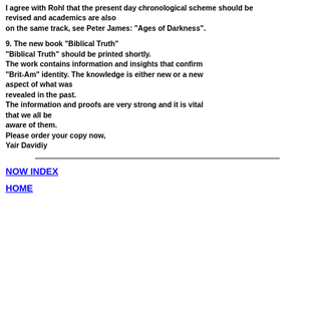I agree with Rohl that the present day chronological scheme should be revised and academics are also on the same track, see Peter James: "Ages of Darkness".
9. The new book "Biblical Truth" "Biblical Truth" should be printed shortly. The work contains information and insights that confirm "Brit-Am" identity. The knowledge is either new or a new aspect of what was revealed in the past. The information and proofs are very strong and it is vital that we all be aware of them. Please order your copy now, Yair Davidiy
NOW INDEX
HOME